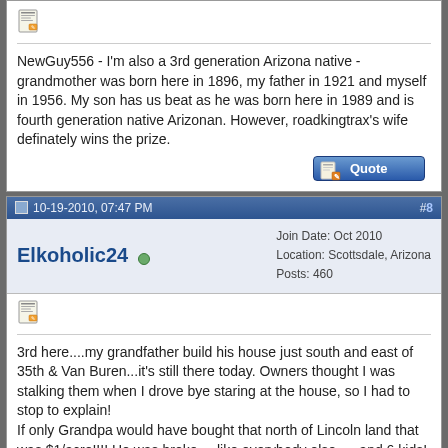NewGuy556 - I'm also a 3rd generation Arizona native - grandmother was born here in 1896, my father in 1921 and myself in 1956. My son has us beat as he was born here in 1989 and is fourth generation native Arizonan. However, roadkingtrax's wife definately wins the prize.
10-19-2010, 07:47 PM  #8
Elkoholic24
Join Date: Oct 2010
Location: Scottsdale, Arizona
Posts: 460
3rd here....my grandfather build his house just south and east of 35th & Van Buren...it's still there today. Owners thought I was stalking them when I drove bye staring at the house, so I had to stop to explain!

If only Grandpa would have bought that north of Lincoln land that was $1/acre!!!! He was broke.....like everybody else......and 6 kids!